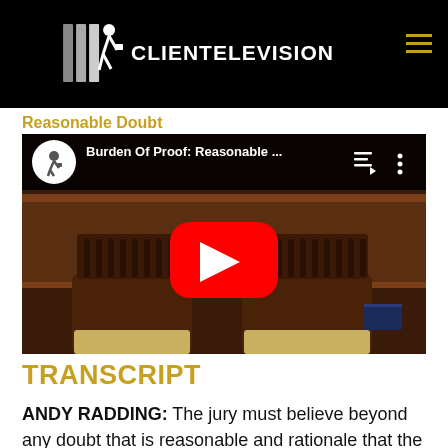[Figure (logo): ClientelevisionTV logo on black background with hamburger menu icon in top right]
Reasonable Doubt
[Figure (screenshot): Embedded YouTube video player showing 'Burden Of Proof: Reasonable ...' with courtroom background image and red play button]
TRANSCRIPT
ANDY RADDING: The jury must believe beyond any doubt that is reasonable and rationale that the defendant has